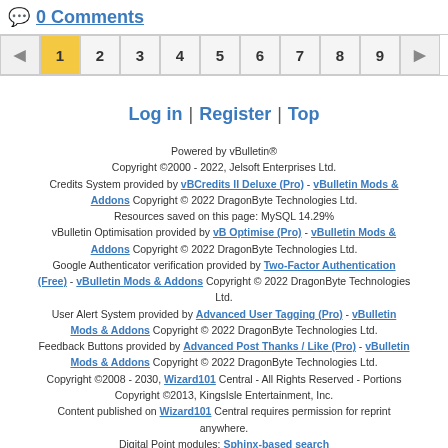0 Comments
[Figure (other): Pagination bar with left arrow, pages 1 (active/highlighted yellow) through 9, and right arrow]
Log in | Register | Top
Powered by vBulletin® Copyright ©2000 - 2022, Jelsoft Enterprises Ltd. Credits System provided by vBCreds II Deluxe (Pro) - vBulletin Mods & Addons Copyright © 2022 DragonByte Technologies Ltd. Resources saved on this page: MySQL 14.29% vBulletin Optimisation provided by vB Optimise (Pro) - vBulletin Mods & Addons Copyright © 2022 DragonByte Technologies Ltd. Google Authenticator verification provided by Two-Factor Authentication (Free) - vBulletin Mods & Addons Copyright © 2022 DragonByte Technologies Ltd. User Alert System provided by Advanced User Tagging (Pro) - vBulletin Mods & Addons Copyright © 2022 DragonByte Technologies Ltd. Feedback Buttons provided by Advanced Post Thanks / Like (Pro) - vBulletin Mods & Addons Copyright © 2022 DragonByte Technologies Ltd. Copyright ©2008 - 2030, Wizard101 Central - All Rights Reserved - Portions Copyright ©2013, KingsIsle Entertainment, Inc. Content published on Wizard101 Central requires permission for reprint anywhere. Digital Point modules: Sphinx-based search